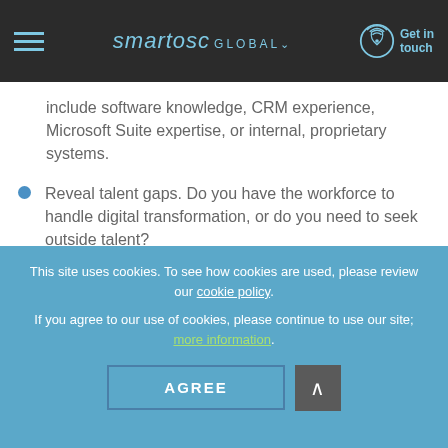smartosc GLOBAL — Get in touch
include software knowledge, CRM experience, Microsoft Suite expertise, or internal, proprietary systems.
Reveal talent gaps. Do you have the workforce to handle digital transformation, or do you need to seek outside talent?
Offer on-the-job training to your existing workforce. Continuing education--whether in the workplace, through a professional association, or at a higher education
This site uses cookies. To see how cookies are used, please review our cookie policy.
If you agree to our use of cookies, please continue to use our site; more information.
AGREE